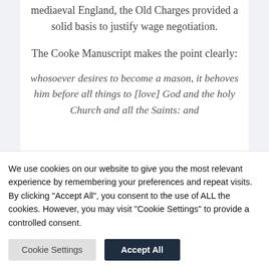mediaeval England, the Old Charges provided a solid basis to justify wage negotiation.
The Cooke Manuscript makes the point clearly:
whosoever desires to become a mason, it behoves him before all things to [love] God and the holy Church and all the Saints: and
We use cookies on our website to give you the most relevant experience by remembering your preferences and repeat visits. By clicking "Accept All", you consent to the use of ALL the cookies. However, you may visit "Cookie Settings" to provide a controlled consent.